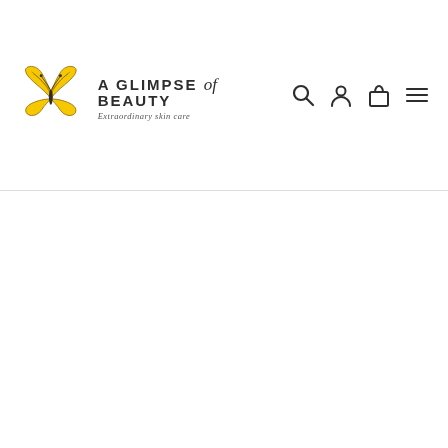[Figure (logo): A Glimpse of Beauty logo with yellow butterfly above the brand name and tagline 'Extraordinary skin care']
[Figure (other): Navigation icons: search (magnifying glass), account (person silhouette), cart (shopping bag), menu (hamburger lines)]